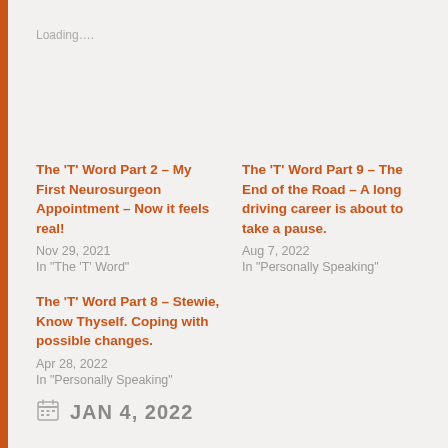Loading….
The 'T' Word Part 2 – My First Neurosurgeon Appointment – Now it feels real!
Nov 29, 2021
In "The 'T' Word"
The 'T' Word Part 9 – The End of the Road – A long driving career is about to take a pause.
Aug 7, 2022
In "Personally Speaking"
The 'T' Word Part 8 – Stewie, Know Thyself. Coping with possible changes.
Apr 28, 2022
In "Personally Speaking"
JAN 4, 2022